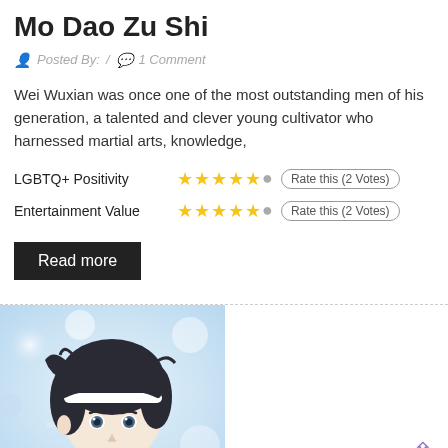Mo Dao Zu Shi
Posted By:  /  1 Comment
Wei Wuxian was once one of the most outstanding men of his generation, a talented and clever young cultivator who harnessed martial arts, knowledge,
LGBTQ+ Positivity  ★★★★★  Rate this (2 Votes)
Entertainment Value  ★★★★★  Rate this (2 Votes)
Read more
[Figure (illustration): Anime character illustration — a young man with dark hair and a white headband, set against a soft blue/white blurred background with flower-like elements.]